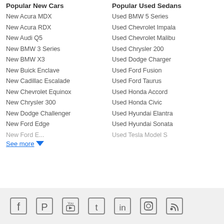Popular New Cars
New Acura MDX
New Acura RDX
New Audi Q5
New BMW 3 Series
New BMW X3
New Buick Enclave
New Cadillac Escalade
New Chevrolet Equinox
New Chrysler 300
New Dodge Challenger
New Ford Edge
New Ford E... (cut off)
Popular Used Sedans
Used BMW 5 Series
Used Chevrolet Impala
Used Chevrolet Malibu
Used Chrysler 200
Used Dodge Charger
Used Ford Fusion
Used Ford Taurus
Used Honda Accord
Used Honda Civic
Used Hyundai Elantra
Used Hyundai Sonata
Used Tesla Model S (cut off)
See more
Social media icons: Facebook, Pinterest, YouTube, Twitter, LinkedIn, Instagram, RSS